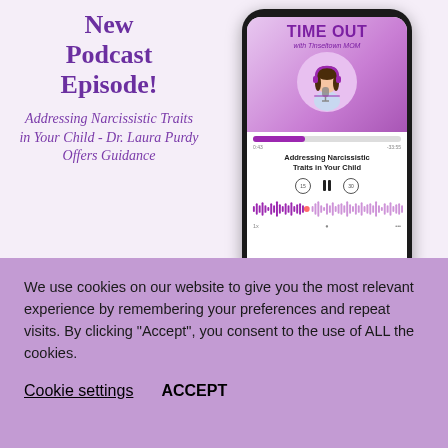New Podcast Episode!
Addressing Narcissistic Traits in Your Child - Dr. Laura Purdy Offers Guidance
[Figure (illustration): Screenshot of a podcast app showing 'Time Out with Tinseltown Mom' episode titled 'Addressing Narcissistic Traits in Your Child', with a cartoon illustration of a woman with headphones at a microphone, playback controls, and a waveform.]
We use cookies on our website to give you the most relevant experience by remembering your preferences and repeat visits. By clicking “Accept”, you consent to the use of ALL the cookies.
Cookie settings
ACCEPT